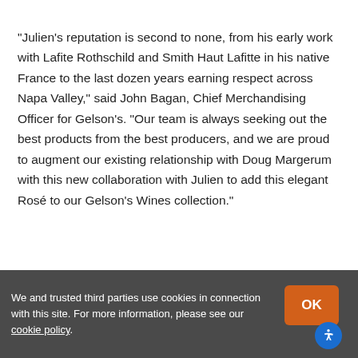“Julien’s reputation is second to none, from his early work with Lafite Rothschild and Smith Haut Lafitte in his native France to the last dozen years earning respect across Napa Valley,” said John Bagan, Chief Merchandising Officer for Gelson’s. “Our team is always seeking out the best products from the best producers, and we are proud to augment our existing relationship with Doug Margerum with this new collaboration with Julien to add this elegant Rosé to our Gelson’s Wines collection.”
About Gelson’s
We and trusted third parties use cookies in connection with this site. For more information, please see our cookie policy.